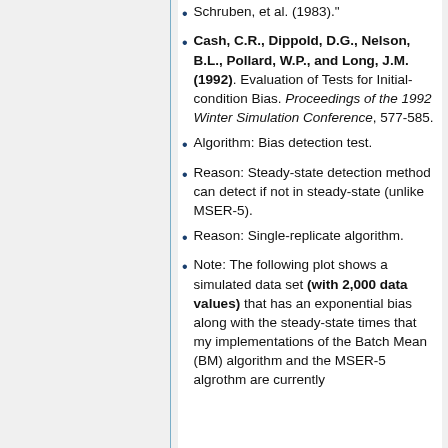Schruben, et al. (1983)."
Cash, C.R., Dippold, D.G., Nelson, B.L., Pollard, W.P., and Long, J.M. (1992). Evaluation of Tests for Initial-condition Bias. Proceedings of the 1992 Winter Simulation Conference, 577-585.
Algorithm: Bias detection test.
Reason: Steady-state detection method can detect if not in steady-state (unlike MSER-5).
Reason: Single-replicate algorithm.
Note: The following plot shows a simulated data set (with 2,000 data values) that has an exponential bias along with the steady-state times that my implementations of the Batch Mean (BM) algorithm and the MSER-5 algrothm are currently...